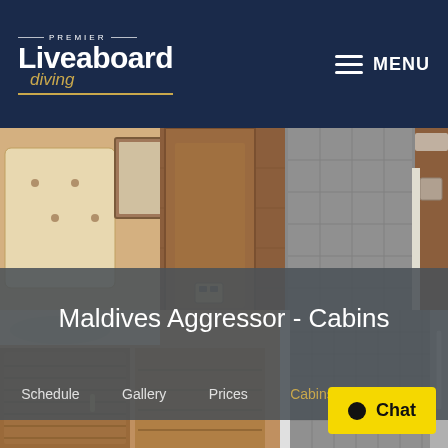[Figure (logo): Premier Liveaboard Diving logo with white text on dark navy background]
[Figure (photo): Interior cabin photo showing wooden paneling, mirror, upholstered headboard, and bathroom doorway]
Maldives Aggressor - Cabins
[Figure (screenshot): Navigation bar with links: Schedule, Gallery, Prices, Cabins (active/gold), Itinerary]
[Figure (photo): Interior cabin bathroom photo showing wooden vanity cabinets and shower area with tiled floor]
Chat